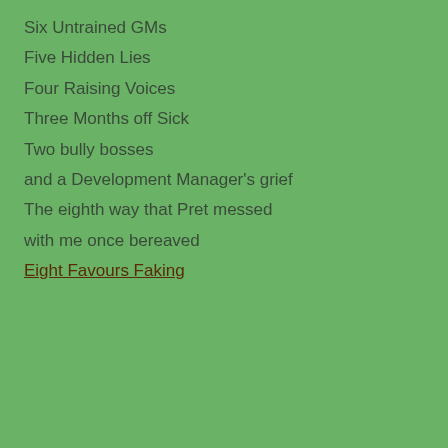Six Untrained GMs
Five Hidden Lies
Four Raising Voices
Three Months off Sick
Two bully bosses
and a Development Manager's grief
The eighth way that Pret messed
with me once bereaved
Eight Favours Faking